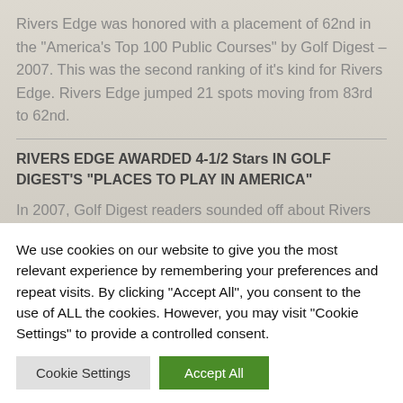Rivers Edge was honored with a placement of 62nd in the “America’s Top 100 Public Courses” by Golf Digest – 2007. This was the second ranking of it’s kind for Rivers Edge. Rivers Edge jumped 21 spots moving from 83rd to 62nd.
RIVERS EDGE AWARDED 4-1/2 Stars IN GOLF DIGEST’S “PLACES TO PLAY IN AMERICA”
In 2007, Golf Digest readers sounded off about Rivers Edge Golf Club, awarding it 4-1/2 Stars out of 5, with
We use cookies on our website to give you the most relevant experience by remembering your preferences and repeat visits. By clicking “Accept All”, you consent to the use of ALL the cookies. However, you may visit "Cookie Settings" to provide a controlled consent.